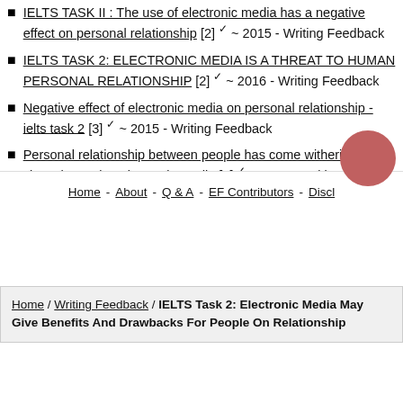IELTS TASK II : The use of electronic media has a negative effect on personal relationship [2] ✓ ~ 2015 - Writing Feedback
IELTS TASK 2: ELECTRONIC MEDIA IS A THREAT TO HUMAN PERSONAL RELATIONSHIP [2] ✓ ~ 2016 - Writing Feedback
Negative effect of electronic media on personal relationship - ielts task 2 [3] ✓ ~ 2015 - Writing Feedback
Personal relationship between people has come withering away, since they using electronic media [3] ✓ ~ 2016 - Writing Feedback
Home / Writing Feedback / IELTS Task 2: Electronic Media May Give Benefits And Drawbacks For People On Relationship
Home - About - Q & A - EF Contributors - Discl...